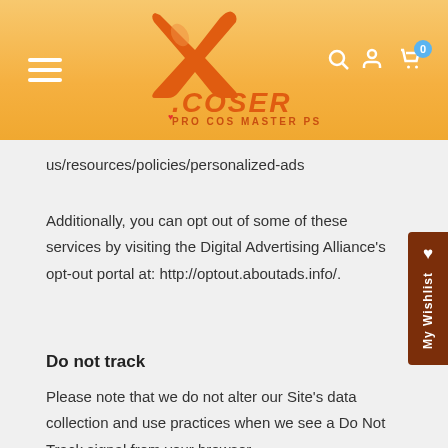[Figure (logo): XCoser Pro Cos Master PS logo with orange X, orange COSER text, and tagline PRO COS MASTER PS]
us/resources/policies/personalized-ads
Additionally, you can opt out of some of these services by visiting the Digital Advertising Alliance's opt-out portal at: http://optout.aboutads.info/.
Do not track
Please note that we do not alter our Site's data collection and use practices when we see a Do Not Track signal from your browser.